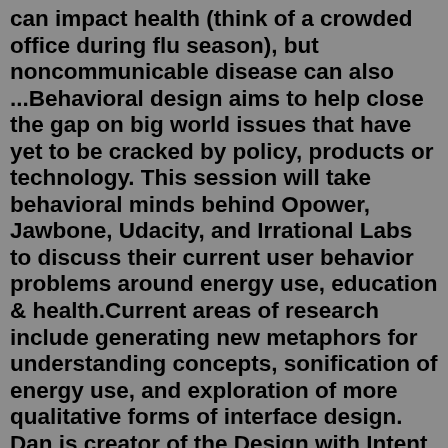can impact health (think of a crowded office during flu season), but noncommunicable disease can also ...Behavioral design aims to help close the gap on big world issues that have yet to be cracked by policy, products or technology. This session will take behavioral minds behind Opower, Jawbone, Udacity, and Irrational Labs to discuss their current user behavior problems around energy use, education & health.Current areas of research include generating new metaphors for understanding concepts, sonification of energy use, and exploration of more qualitative forms of interface design. Dan is creator of the Design with Intent toolkit, a design pattern collection for social and environmental behavior change, and an editor of Living Labs (Springer, 2016 ...Key Takeaway. Situational influences are temporary conditions that affect how buyers behave. They include physical factors such as a store's buying locations, layout, music, lighting, and even scent. Companies try to make the physical factors in which